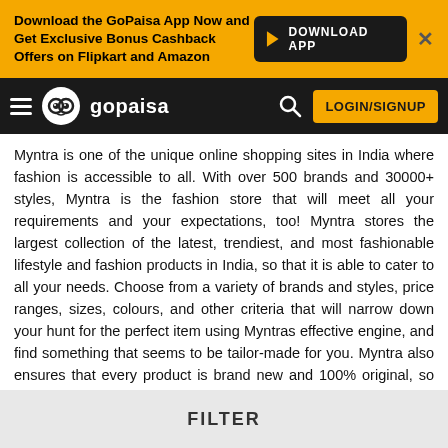[Figure (infographic): GoPaisa app download banner with orange background, bold text saying 'Download the GoPaisa App Now and Get Exclusive Bonus Cashback Offers on Flipkart and Amazon', a black 'DOWNLOAD APP' button with Play Store arrow, and an X close button]
[Figure (logo): GoPaisa navigation bar with hamburger menu, GoPaisa logo (owl eyes icon and gopaisa text), search icon, and LOGIN/SIGNUP yellow button]
Myntra is one of the unique online shopping sites in India where fashion is accessible to all. With over 500 brands and 30000+ styles, Myntra is the fashion store that will meet all your requirements and your expectations, too! Myntra stores the largest collection of the latest, trendiest, and most fashionable lifestyle and fashion products in India, so that it is able to cater to all your needs. Choose from a variety of brands and styles, price ranges, sizes, colours, and other criteria that will narrow down your hunt for the perfect item using Myntras effective engine, and find something that seems to be tailor-made for you. Myntra also ensures that every product is brand new and 100% original, so you do not need to worry about quality and design. If these perks aren't enough, Myntra also offers 30 day free returns! This free, and simple process will solve any problem
FILTER